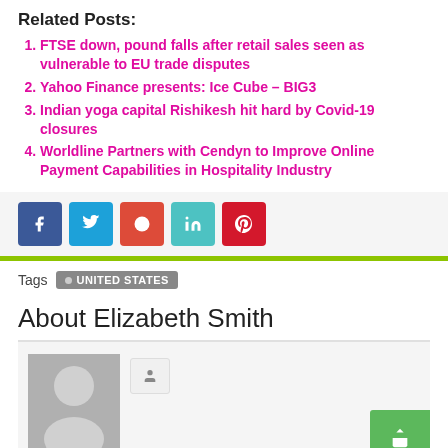Related Posts:
FTSE down, pound falls after retail sales seen as vulnerable to EU trade disputes
Yahoo Finance presents: Ice Cube – BIG3
Indian yoga capital Rishikesh hit hard by Covid-19 closures
Worldline Partners with Cendyn to Improve Online Payment Capabilities in Hospitality Industry
[Figure (infographic): Social share buttons: Facebook (blue), Twitter (light blue), Google/Reddit (orange-red), LinkedIn (teal), Pinterest (red)]
Tags • UNITED STATES
About Elizabeth Smith
[Figure (photo): Author avatar placeholder image (grey silhouette) with a follow button and a green share button]